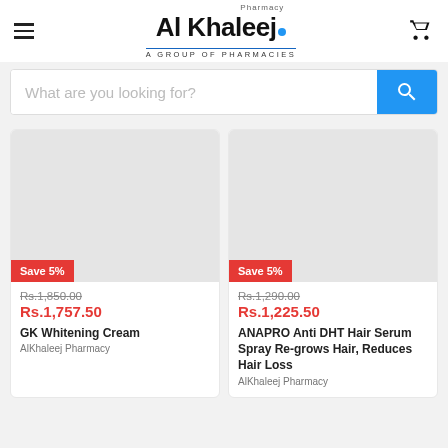[Figure (logo): Al Khaleej Pharmacy logo with hamburger menu and cart icon in header]
What are you looking for?
[Figure (photo): Product image placeholder (grey box) for GK Whitening Cream with Save 5% badge]
Rs.1,850.00
Rs.1,757.50
GK Whitening Cream
AlKhaleej Pharmacy
[Figure (photo): Product image placeholder (grey box) for ANAPRO Anti DHT Hair Serum Spray with Save 5% badge]
Rs.1,290.00
Rs.1,225.50
ANAPRO Anti DHT Hair Serum Spray Re-grows Hair, Reduces Hair Loss
AlKhaleej Pharmacy